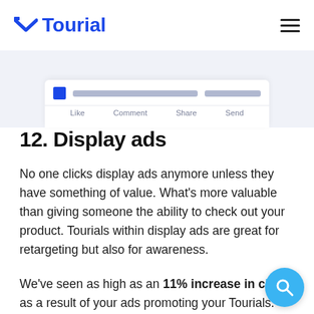Tourial
[Figure (screenshot): Screenshot of a social media post interaction bar showing Like, Comment, Share, Send buttons, with a blue square icon and grey placeholder lines above]
12. Display ads
No one clicks display ads anymore unless they have something of value. What's more valuable than giving someone the ability to check out your product. Tourials within display ads are great for retargeting but also for awareness.
We've seen as high as an 11% increase in click as a result of your ads promoting your Tourials.